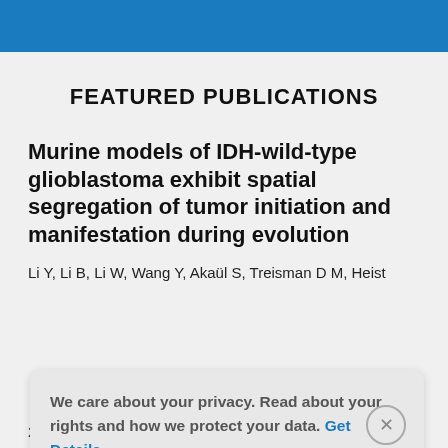FEATURED PUBLICATIONS
Murine models of IDH-wild-type glioblastoma exhibit spatial segregation of tumor initiation and manifestation during evolution
Li Y, Li B, Li W, Wang Y, Akaül S, Treisman D M, Heist...
We care about your privacy. Read about your rights and how we protect your data. Get Details »
22:11(1):3669. doi: 10.1038/s41467-020-17382-3